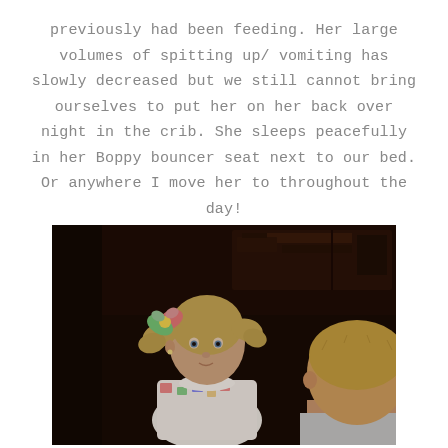previously had been feeding. Her large volumes of spitting up/ vomiting has slowly decreased but we still cannot bring ourselves to put her on her back over night in the crib. She sleeps peacefully in her Boppy bouncer seat next to our bed. Or anywhere I move her to throughout the day!
[Figure (photo): Dark indoor photograph of two young children: a blonde toddler girl with pigtails and a colorful hair bow on the left facing the camera, and a blonde toddler boy seen from behind on the right, in a dimly lit room with dark wood furniture in the background.]